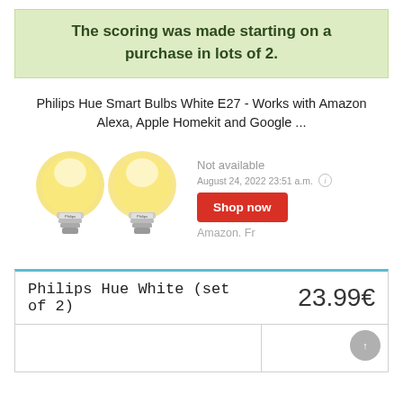The scoring was made starting on a purchase in lots of 2.
Philips Hue Smart Bulbs White E27 - Works with Amazon Alexa, Apple Homekit and Google ...
[Figure (photo): Two Philips Hue white smart light bulbs with E27 base, warm white glow.]
Not available
August 24, 2022 23:51 a.m.
Shop now
Amazon. Fr
| Philips Hue White (set of 2) | 23.99€ |
| --- | --- |
|  |  |